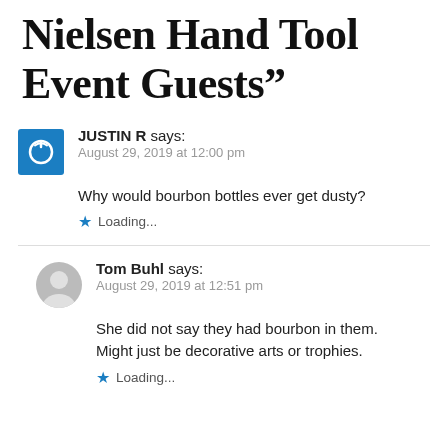Nielsen Hand Tool Event Guests”
JUSTIN R says:
August 29, 2019 at 12:00 pm
Why would bourbon bottles ever get dusty?
★ Loading...
Tom Buhl says:
August 29, 2019 at 12:51 pm
She did not say they had bourbon in them. Might just be decorative arts or trophies.
★ Loading...